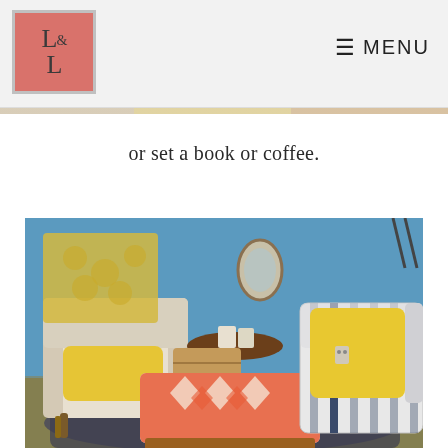[Figure (logo): L&L brand logo in a coral/salmon colored square box with decorative border]
≡ MENU
or set a book or coffee.
[Figure (photo): Interior living room scene with blue walls, a white wingback chair with yellow pillow and yellow floral throw, a round wooden pedestal side table with boxes on top, a red and white ikat-patterned upholstered bench/ottoman in the center, a blue and white striped sofa with large yellow pillow on the right, and a woven dark rug on hardwood floors.]